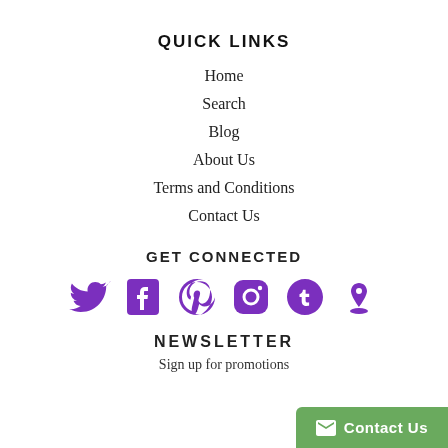QUICK LINKS
Home
Search
Blog
About Us
Terms and Conditions
Contact Us
GET CONNECTED
[Figure (illustration): Six social media icons in purple: Twitter, Facebook, Pinterest, Instagram, Tumblr, and another icon]
NEWSLETTER
Sign up for promotions
Contact Us